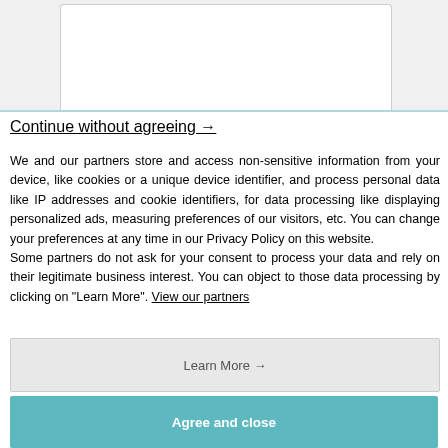[Figure (screenshot): Top portion of a cookie/privacy consent dialog showing partial tab UI with gray background and white tab area]
Continue without agreeing →
We and our partners store and access non-sensitive information from your device, like cookies or a unique device identifier, and process personal data like IP addresses and cookie identifiers, for data processing like displaying personalized ads, measuring preferences of our visitors, etc. You can change your preferences at any time in our Privacy Policy on this website.
Some partners do not ask for your consent to process your data and rely on their legitimate business interest. You can object to those data processing by clicking on "Learn More". View our partners
Learn More →
Agree and close